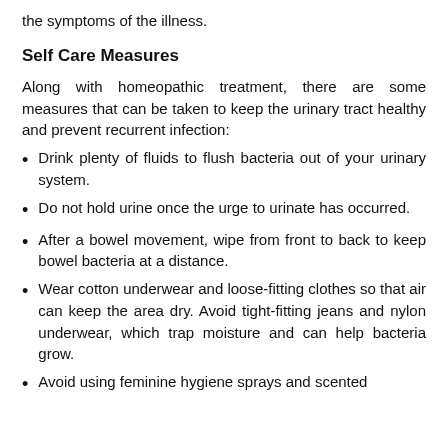the symptoms of the illness.
Self Care Measures
Along with homeopathic treatment, there are some measures that can be taken to keep the urinary tract healthy and prevent recurrent infection:
Drink plenty of fluids to flush bacteria out of your urinary system.
Do not hold urine once the urge to urinate has occurred.
After a bowel movement, wipe from front to back to keep bowel bacteria at a distance.
Wear cotton underwear and loose-fitting clothes so that air can keep the area dry. Avoid tight-fitting jeans and nylon underwear, which trap moisture and can help bacteria grow.
Avoid using feminine hygiene sprays and scented